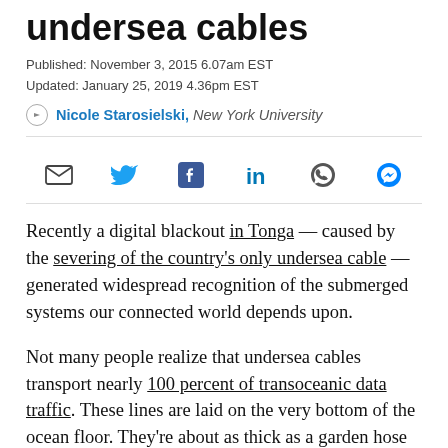undersea cables
Published: November 3, 2015 6.07am EST
Updated: January 25, 2019 4.36pm EST
Nicole Starosielski, New York University
[Figure (infographic): Social share bar with email, Twitter, Facebook, LinkedIn, WhatsApp, and Messenger icons]
Recently a digital blackout in Tonga — caused by the severing of the country's only undersea cable — generated widespread recognition of the submerged systems our connected world depends upon.
Not many people realize that undersea cables transport nearly 100 percent of transoceanic data traffic. These lines are laid on the very bottom of the ocean floor. They're about as thick as a garden hose and carry the world's internet, phone calls and